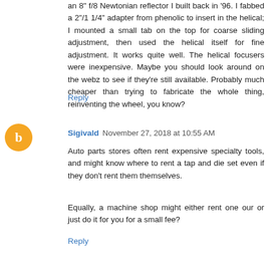an 8" f/8 Newtonian reflector I built back in '96. I fabbed a 2"/1 1/4" adapter from phenolic to insert in the helical; I mounted a small tab on the top for coarse sliding adjustment, then used the helical itself for fine adjustment. It works quite well. The helical focusers were inexpensive. Maybe you should look around on the webz to see if they're still available. Probably much cheaper than trying to fabricate the whole thing, reinventing the wheel, you know?
Reply
Sigivald  November 27, 2018 at 10:55 AM
Auto parts stores often rent expensive specialty tools, and might know where to rent a tap and die set even if they don't rent them themselves.
Equally, a machine shop might either rent one our or just do it for you for a small fee?
Reply